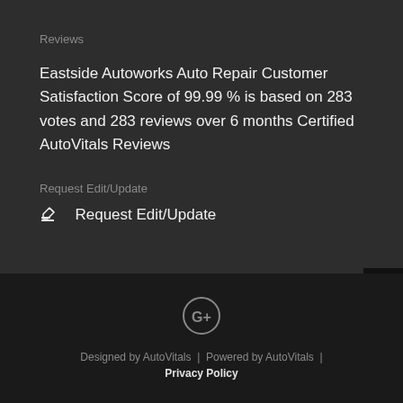Reviews
Eastside Autoworks Auto Repair Customer Satisfaction Score of 99.99 % is based on 283 votes and 283 reviews over 6 months Certified AutoVitals Reviews
Request Edit/Update
✎  Request Edit/Update
[Figure (logo): Google+ icon (G+) in gray]
Designed by AutoVitals | Powered by AutoVitals | Privacy Policy